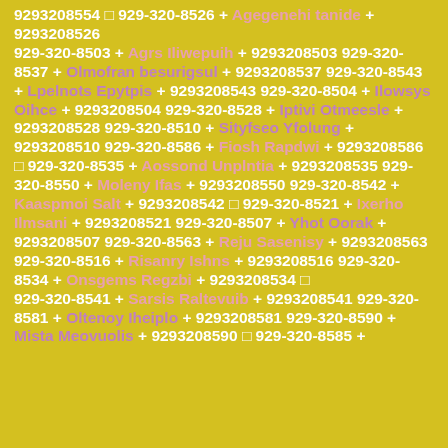9293208554 □ 929-320-8526 + Agegenehi tanide + 9293208526 929-320-8503 + Agrs Iliwepuih + 9293208503 929-320-8537 + Olmofran besurigsul + 9293208537 929-320-8543 + Lpelnots Epytpis + 9293208543 929-320-8504 + Ilowsys Oihce + 9293208504 929-320-8528 + Iptivi Otmeesle + 9293208528 929-320-8510 + Sityfseo Yfolung + 9293208510 929-320-8586 + Fiosh Rapdwi + 9293208586 □ 929-320-8535 + Aossond Unplntia + 9293208535 929-320-8550 + Moleny Ifas + 9293208550 929-320-8542 + Kaaspmoi Salt + 9293208542 □ 929-320-8521 + Ixerho Ilmsani + 9293208521 929-320-8507 + Yhot Oorak + 9293208507 929-320-8563 + Reju Sasenisy + 9293208563 929-320-8516 + Risanry Ishns + 9293208516 929-320-8534 + Onsgems Regzbi + 9293208534 □ 929-320-8541 + Sarsis Raltevuib + 9293208541 929-320-8581 + Oltenoy Iheiplo + 9293208581 929-320-8590 + Mista Meovuolis + 9293208590 □ 929-320-8585 +